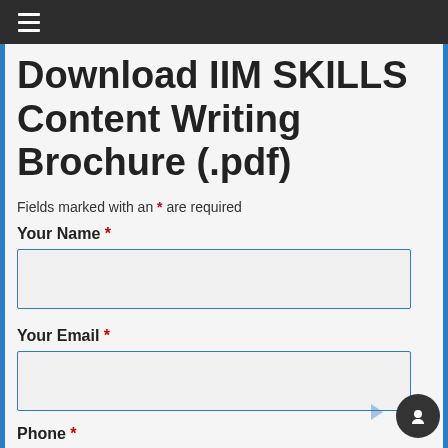≡
Download IIM SKILLS Content Writing Brochure (.pdf)
Fields marked with an * are required
Your Name *
Your Email *
Phone *